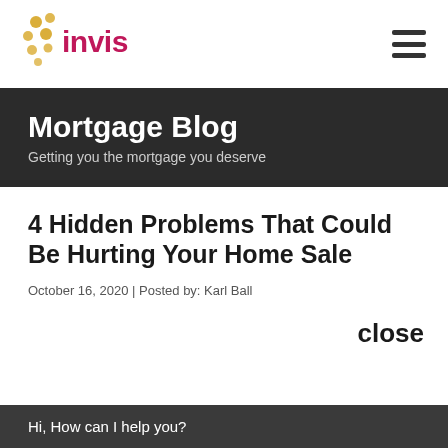[Figure (logo): Invis mortgage broker logo with decorative dot pattern and pink/gold brand colors]
Mortgage Blog
Getting you the mortgage you deserve
4 Hidden Problems That Could Be Hurting Your Home Sale
October 16, 2020 | Posted by: Karl Ball
close
Hi, How can I help you?